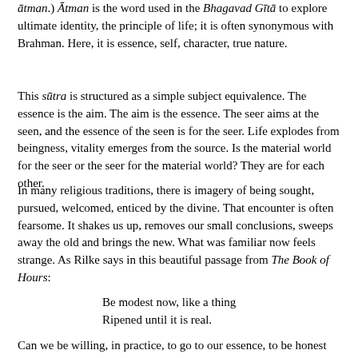ātman.) Ātman is the word used in the Bhagavad Gītā to explore ultimate identity, the principle of life; it is often synonymous with Brahman. Here, it is essence, self, character, true nature.
This sūtra is structured as a simple subject equivalence. The essence is the aim. The aim is the essence. The seer aims at the seen, and the essence of the seen is for the seer. Life explodes from beingness, vitality emerges from the source. Is the material world for the seer or the seer for the material world? They are for each other.
In many religious traditions, there is imagery of being sought, pursued, welcomed, enticed by the divine. That encounter is often fearsome. It shakes us up, removes our small conclusions, sweeps away the old and brings the new. What was familiar now feels strange. As Rilke says in this beautiful passage from The Book of Hours:
Be modest now, like a thing
Ripened until it is real.
Can we be willing, in practice, to go to our essence, to be honest within, and open to our own questions and possibilities to